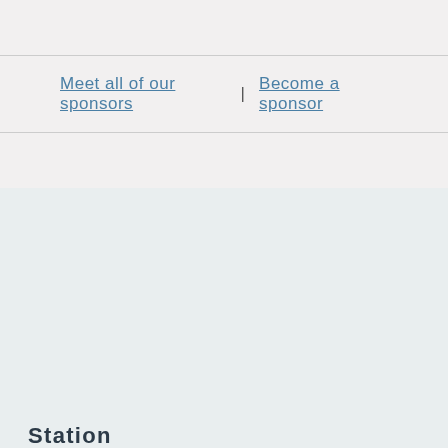Meet all of our sponsors | Become a sponsor
Station
About Us
Values and Commitment Statement
Station Staff
Program Hosts
Board of Directors
Community Advisory Group